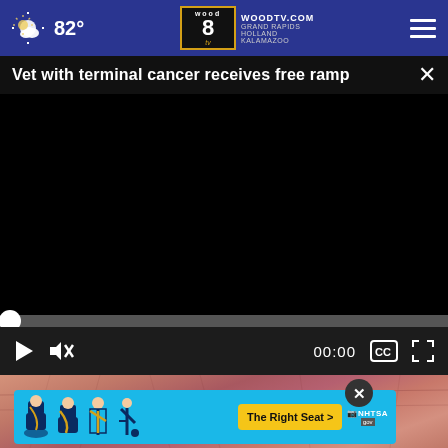82° | WOODTV.COM GRAND RAPIDS HOLLAND KALAMAZOO | wood 8 TV
Vet with terminal cancer receives free ramp
[Figure (screenshot): Black video player area showing a paused video with progress bar at start (00:00), play button, mute button, timestamp 00:00, CC button, and fullscreen button on dark controls bar]
[Figure (photo): Close-up photo of elderly skin, pinkish-red tones, wrinkled texture]
[Figure (infographic): NHTSA The Right Seat advertisement banner with car seat icons on blue background and yellow call-to-action button]